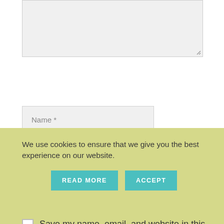[Figure (screenshot): Textarea input field with resize handle in bottom right corner, light gray background]
Name *
Email *
Website
Save my name, email, and website in this browser for the next time I comment.
We use cookies to ensure that we give you the best experience on our website.
READ MORE
ACCEPT